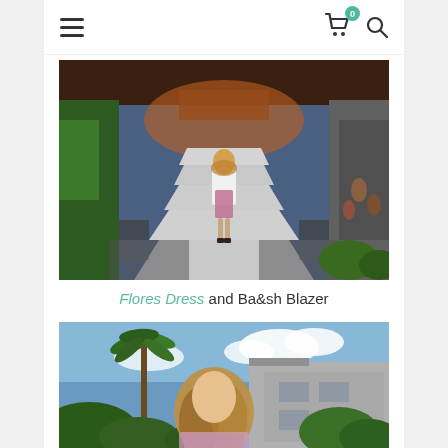Navigation bar with hamburger menu, cart icon with badge 0, and search icon
[Figure (photo): Woman in floral dress and white blazer standing on decorative stone stairs at a resort, with lush greenery and a covered structure in the background at dusk]
Flores Dress and Ba&sh Blazer
[Figure (photo): Close-up of a woman outdoors near a tropical resort with palm trees, lush greenery, and a modern building in the background under a partially cloudy sky]